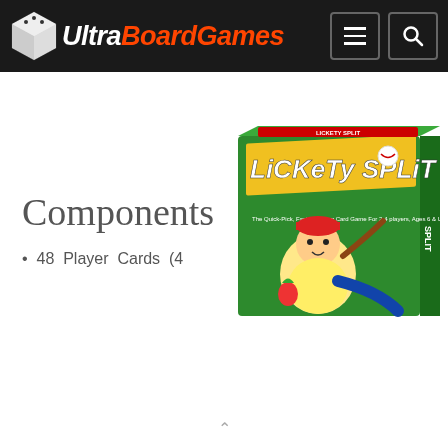Ultra BoardGames
Components
48 Player Cards (4
[Figure (photo): Lickety Split board game box - green box with cartoon character, The Quick-Pick, Fast-Matching Card Game For 2-4 players, Ages 6 & Up]